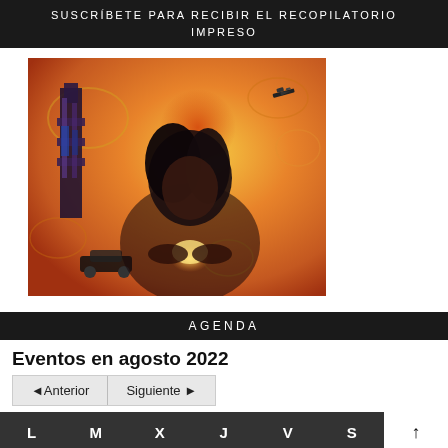SUSCRÍBETE PARA RECIBIR EL RECOPILATORIO IMPRESO
[Figure (illustration): Digital artwork showing a young girl with dark hair looking down at glowing light in her hands, set against a surreal orange/golden background with swirling patterns, a tall structure on the left, a small car, and an airplane silhouette.]
AGENDA
Eventos en agosto 2022
◄Anterior | Siguiente ►
| L | M | X | J | V | S | ↑ |
| --- | --- | --- | --- | --- | --- | --- |